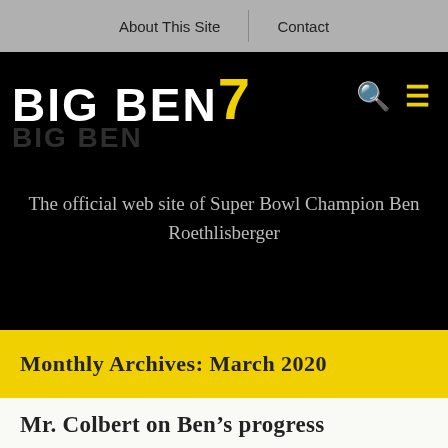About This Site | Contact
[Figure (logo): Big Ben 7 logo on black background with yellow number 7, search icon and menu icon]
The official web site of Super Bowl Champion Ben Roethlisberger
Monthly Archives: March 2020
Mr. Colbert on Ben’s progress